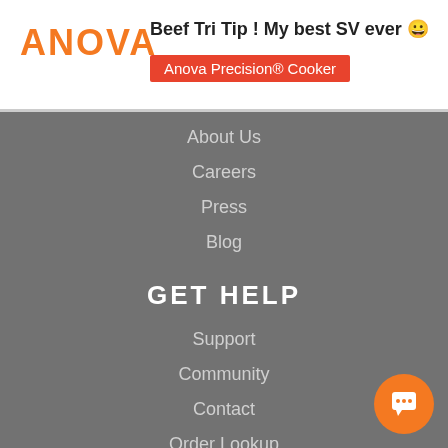[Figure (logo): ANOVA logo in orange text]
Beef Tri Tip ! My best SV ever 😀
Anova Precision® Cooker
About Us
Careers
Press
Blog
GET HELP
Support
Community
Contact
Order Lookup
Do Not Sell My Information